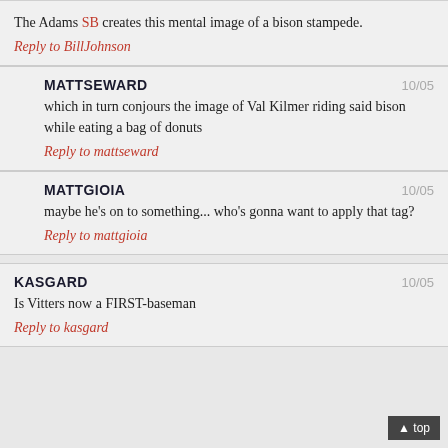The Adams SB creates this mental image of a bison stampede. Reply to BillJohnson
MATTSEWARD 10/05 which in turn conjours the image of Val Kilmer riding said bison while eating a bag of donuts Reply to mattseward
MATTGIOIA 10/05 maybe he's on to something... who's gonna want to apply that tag? Reply to mattgioia
KASGARD 10/05 Is Vitters now a FIRST-baseman Reply to kasgard